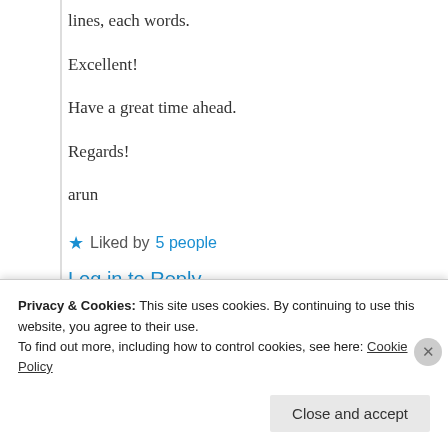lines, each words.
Excellent!
Have a great time ahead.
Regards!
arun
★ Liked by 5 people
Log in to Reply
[Figure (screenshot): Nested comment box with teal border, partially visible]
Privacy & Cookies: This site uses cookies. By continuing to use this website, you agree to their use. To find out more, including how to control cookies, see here: Cookie Policy
Close and accept